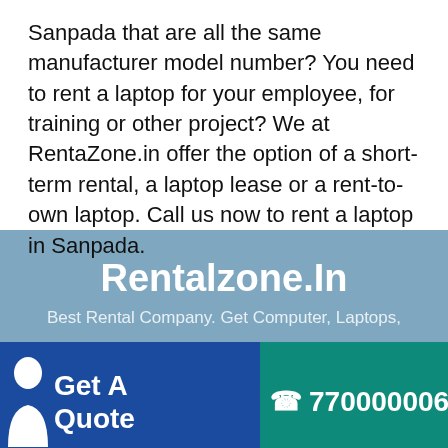Sanpada that are all the same manufacturer model number? You need to rent a laptop for your employee, for training or other project? We at RentaZone.in offer the option of a short-term rental, a laptop lease or a rent-to-own laptop. Call us now to rent a laptop in Sanpada.
Rentalzone.In
Best Rental Company. Get Computer, Laptops,
Get A Quote
7700000692